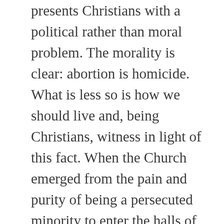presents Christians with a political rather than moral problem. The morality is clear: abortion is homicide. What is less so is how we should live and, being Christians, witness in light of this fact. When the Church emerged from the pain and purity of being a persecuted minority to enter the halls of worldly prominence, she adjusted her teachings on war and capital punishment as a result of her responsibilities in a sin-soaked world. What is required of Christians who inhabit a technically advanced but philosophically superstitious society that is naïve about technology's ability to separate copulation